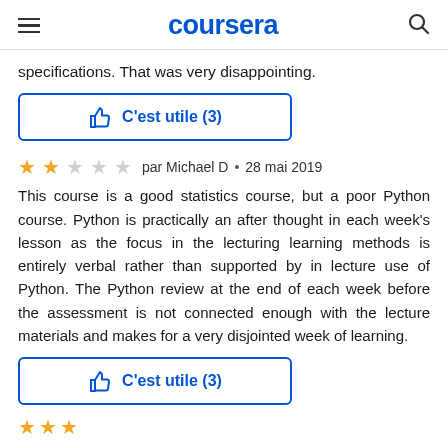coursera
specifications. That was very disappointing.
[Figure (other): Thumbs up helpful button labeled C'est utile (3) with blue border]
★★☆☆☆  par Michael D  •  28 mai 2019
This course is a good statistics course, but a poor Python course. Python is practically an after thought in each week's lesson as the focus in the lecturing learning methods is entirely verbal rather than supported by in lecture use of Python. The Python review at the end of each week before the assessment is not connected enough with the lecture materials and makes for a very disjointed week of learning.
[Figure (other): Thumbs up helpful button labeled C'est utile (3) with blue border]
★★★★★ (partial stars visible at bottom)